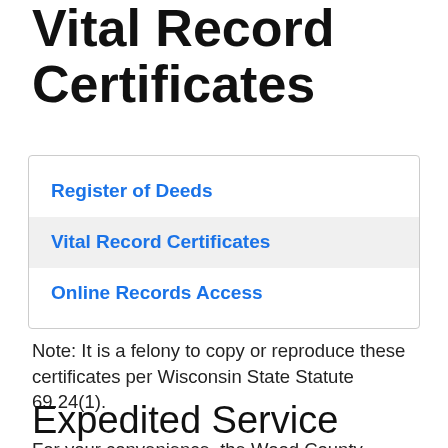Vital Record Certificates
Register of Deeds
Vital Record Certificates
Online Records Access
Note: It is a felony to copy or reproduce these certificates per Wisconsin State Statute 69.24(1).
Expedited Service
For your convenience, the Wood County Register of